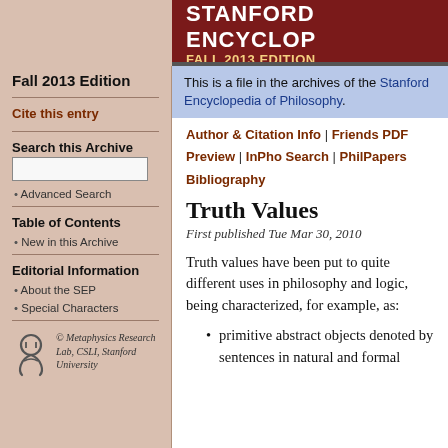Stanford Encyclopedia of Philosophy — Fall 2013 Edition
Fall 2013 Edition
Cite this entry
Search this Archive
Advanced Search
Table of Contents
New in this Archive
Editorial Information
About the SEP
Special Characters
© Metaphysics Research Lab, CSLI, Stanford University
This is a file in the archives of the Stanford Encyclopedia of Philosophy.
Author & Citation Info | Friends PDF Preview | InPho Search | PhilPapers Bibliography
Truth Values
First published Tue Mar 30, 2010
Truth values have been put to quite different uses in philosophy and logic, being characterized, for example, as:
primitive abstract objects denoted by sentences in natural and formal